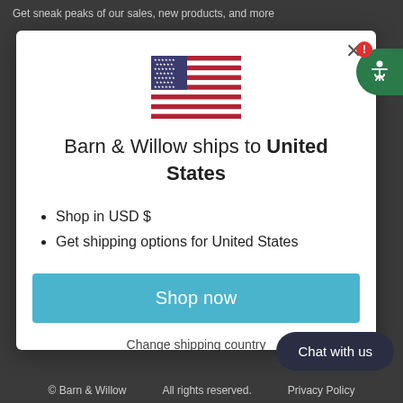Get sneak peaks of our sales, new products, and more
[Figure (illustration): US flag emoji / icon]
Barn & Willow ships to United States
Shop in USD $
Get shipping options for United States
Shop now
Change shipping country
Chat with us
© Barn & Willow     All rights reserved.     Privacy Policy